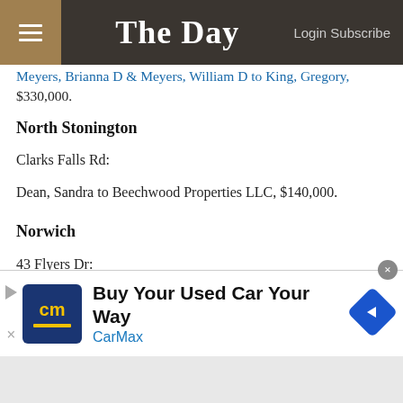The Day — Login Subscribe
Meyers, Brianna D & Meyers, William D to King, Gregory, $330,000.
North Stonington
Clarks Falls Rd:
Dean, Sandra to Beechwood Properties LLC, $140,000.
Norwich
43 Flyers Dr:
Deschamps, Carole O & Hallisey, Maryj to Deschamps, Carole O, $200,000.
[Figure (infographic): CarMax advertisement banner: Buy Your Used Car Your Way, CarMax logo]